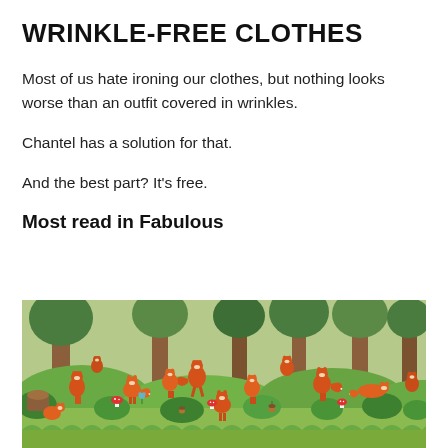WRINKLE-FREE CLOTHES
Most of us hate ironing our clothes, but nothing looks worse than an outfit covered in wrinkles.
Chantel has a solution for that.
And the best part? It's free.
Most read in Fabulous
[Figure (illustration): Colourful illustrated scene of many orange foxes in a woodland setting with green bushes, trees, mushrooms, and acorns]